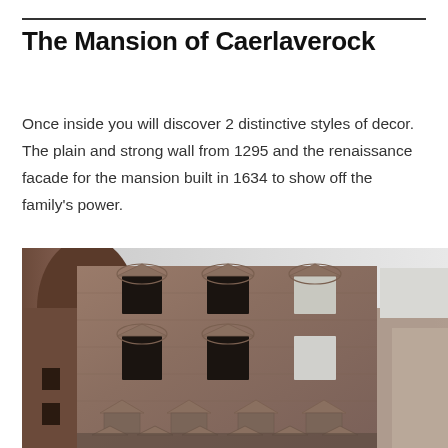The Mansion of Caerlaverock
Once inside you will discover 2 distinctive styles of decor. The plain and strong wall from 1295 and the renaissance facade for the mansion built in 1634 to show off the family's power.
[Figure (photo): Photograph of the interior facade of Caerlaverock Castle showing the renaissance-style stonework with ornate window surrounds, pediments, and carved decorations across multiple storeys of a roofless ruined building]